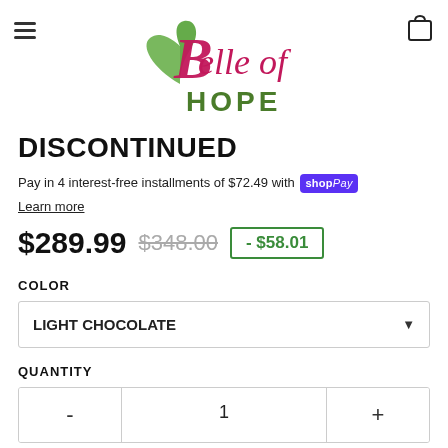[Figure (logo): Belle of Hope logo with green heart and pink/magenta script text reading 'Belle of Hope']
DISCONTINUED
Pay in 4 interest-free installments of $72.49 with shopPay
Learn more
$289.99  $348.00  - $58.01
COLOR
LIGHT CHOCOLATE
QUANTITY
- 1 +